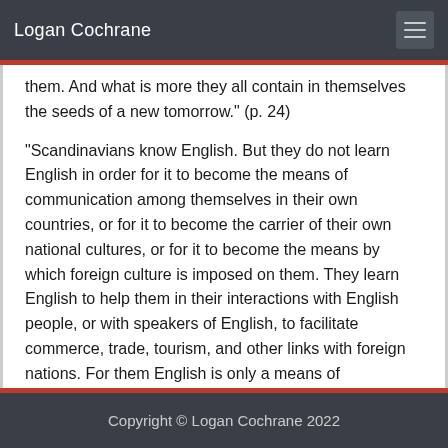Logan Cochrane
them. And what is more they all contain in themselves the seeds of a new tomorrow." (p. 24)
"Scandinavians know English. But they do not learn English in order for it to become the means of communication among themselves in their own countries, or for it to become the carrier of their own national cultures, or for it to become the means by which foreign culture is imposed on them. They learn English to help them in their interactions with English people, or with speakers of English, to facilitate commerce, trade, tourism, and other links with foreign nations. For them English is only a means of communication with the outside world. The
Copyright © Logan Cochrane 2022